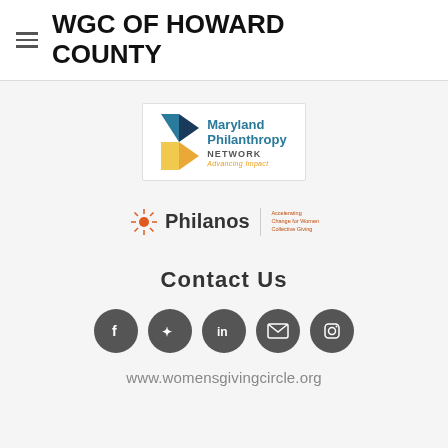WGC OF HOWARD COUNTY
[Figure (logo): Maryland Philanthropy Network - Advancing Impact logo with geometric color shapes]
[Figure (logo): Philanos logo with sunburst icon and tagline text]
Contact Us
[Figure (infographic): Five social media icon circles: Facebook, Twitter, LinkedIn, Email, Instagram]
www.womensgivingcircle.org